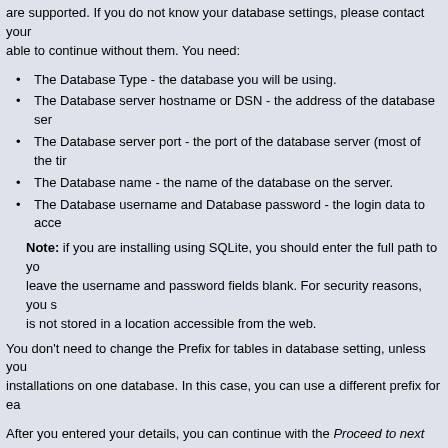are supported. If you do not know your database settings, please contact your host. You will not be able to continue without them. You need:
The Database Type - the database you will be using.
The Database server hostname or DSN - the address of the database server.
The Database server port - the port of the database server (most of the time you can leave this blank).
The Database name - the name of the database on the server.
The Database username and Database password - the login data to access the database.
Note: if you are installing using SQLite, you should enter the full path to your SQLite database and leave the username and password fields blank. For security reasons, you should ensure that the database is not stored in a location accessible from the web.
You don't need to change the Prefix for tables in database setting, unless you plan to have multiple installations on one database. In this case, you can use a different prefix for each installation.
After you entered your details, you can continue with the Proceed to next step button. phpBB will check if the data you entered will lead to a successful database connection and whether the table prefix you chose doesn't exist.
A Could not connect to the database error means that you didn't enter the data in a way that makes it possible for phpBB to connect. Make sure that everything you entered is in order and try again. If you're still unsure about your database settings, please contact your host.
If you installed another version of phpBB before on the same database with the same prefix, phpBB will notice and you just need to enter a different database prefix.